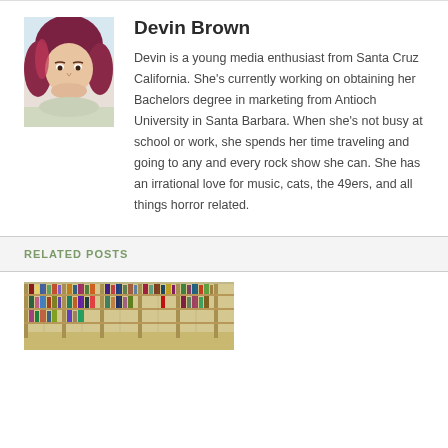[Figure (photo): Profile photo of Devin Brown, a young woman with red-highlighted hair, smiling.]
Devin Brown
Devin is a young media enthusiast from Santa Cruz California. She's currently working on obtaining her Bachelors degree in marketing from Antioch University in Santa Barbara. When she's not busy at school or work, she spends her time traveling and going to any and every rock show she can. She has an irrational love for music, cats, the 49ers, and all things horror related.
RELATED POSTS
[Figure (photo): Photo of a library interior with bookshelves filled with books.]